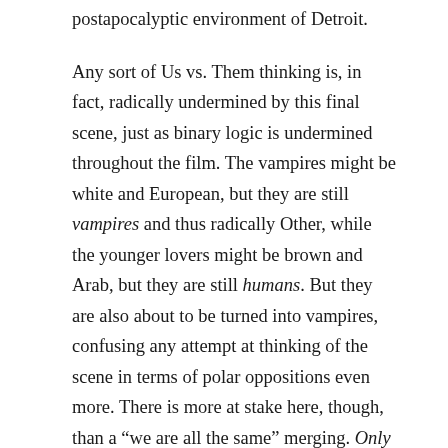postapocalyptic environment of Detroit.
Any sort of Us vs. Them thinking is, in fact, radically undermined by this final scene, just as binary logic is undermined throughout the film. The vampires might be white and European, but they are still vampires and thus radically Other, while the younger lovers might be brown and Arab, but they are still humans. But they are also about to be turned into vampires, confusing any attempt at thinking of the scene in terms of polar oppositions even more. There is more at stake here, though, than a “we are all the same” merging. Only Lovers Left Alive is complex and nuanced enough that this final emphasis on hybridity and continuity is more than mere rosy-eyed cliché: the film still ends with the old feeding on the young, the rich feeding on the poor,